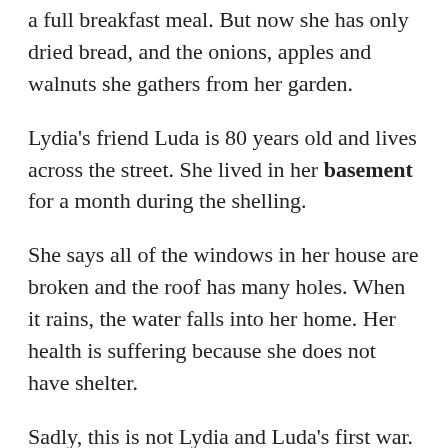a full breakfast meal. But now she has only dried bread, and the onions, apples and walnuts she gathers from her garden.
Lydia's friend Luda is 80 years old and lives across the street. She lived in her basement for a month during the shelling.
She says all of the windows in her house are broken and the roof has many holes. When it rains, the water falls into her home. Her health is suffering because she does not have shelter.
Sadly, this is not Lydia and Luda's first war. They were children during World War II. They remember when the German army invaded Ukraine in 1941. Lydia's mother was working in a nearby factory when the Germans attacked.